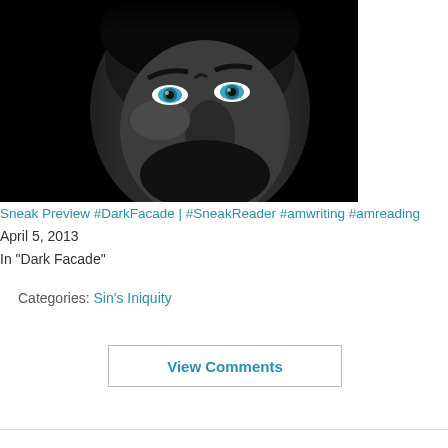[Figure (photo): Black and white close-up portrait of a man with beard and striking blue eyes against a dark background]
Sneak Preview #DarkFacade | #SneakReader #amwriting #amreading
April 5, 2013
In "Dark Facade"
Categories: Sin's Iniquity
View Comments